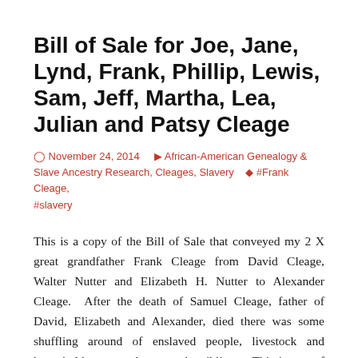Bill of Sale for Joe, Jane, Lynd, Frank, Phillip, Lewis, Sam, Jeff, Martha, Lea, Julian and Patsy Cleage
November 24, 2014   African-American Genealogy & Slave Ancestry Research, Cleages, Slavery   #Frank Cleage, #slavery
This is a copy of the Bill of Sale that conveyed my 2 X great grandfather Frank Cleage from David Cleage, Walter Nutter and Elizabeth H. Nutter to Alexander Cleage. After the death of Samuel Cleage, father of David, Elizabeth and Alexander, died there was some shuffling around of enslaved people, livestock and household property between the siblings. This is one of three Bills of Sale that I have of